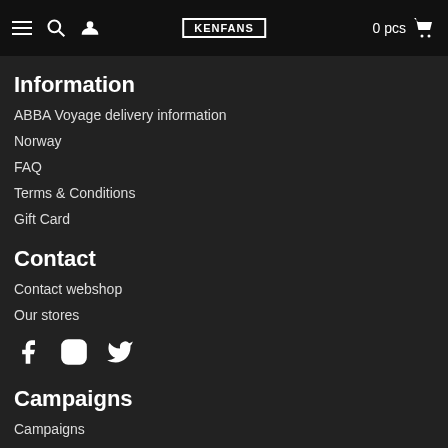KENFANS — Navigation bar with menu, search, user, logo, 0 pcs cart
Information
ABBA Voyage delivery information
Norway
FAQ
Terms & Conditions
Gift Card
Contact
Contact webshop
Our stores
[Figure (other): Social media icons: Facebook, Instagram, Twitter]
Campaigns
Campaigns